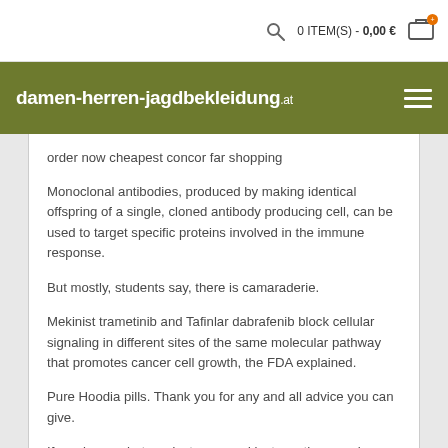0 ITEM(S) - 0,00 €
damen-herren-jagdbekleidung.at
order now cheapest concor far shopping
Monoclonal antibodies, produced by making identical offspring of a single, cloned antibody producing cell, can be used to target specific proteins involved in the immune response.
But mostly, students say, there is camaraderie.
Mekinist trametinib and Tafinlar dabrafenib block cellular signaling in different sites of the same molecular pathway that promotes cancer cell growth, the FDA explained.
Pure Hoodia pills. Thank you for any and all advice you can give.
If you know what product you need just use the search